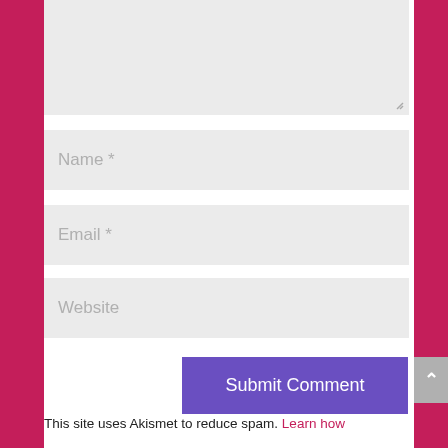[Figure (screenshot): A textarea form field with light gray background and resize handle in bottom-right corner]
Name *
Email *
Website
Submit Comment
This site uses Akismet to reduce spam. Learn how